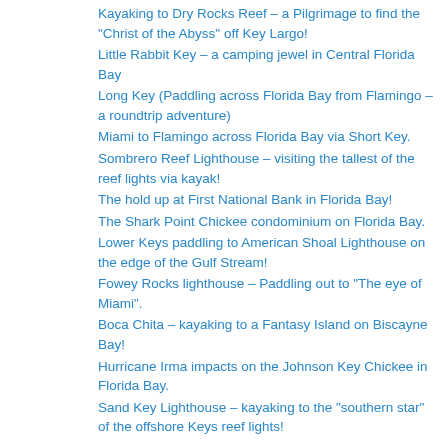Kayaking to Dry Rocks Reef – a Pilgrimage to find the “Christ of the Abyss” off Key Largo!
Little Rabbit Key – a camping jewel in Central Florida Bay
Long Key (Paddling across Florida Bay from Flamingo – a roundtrip adventure)
Miami to Flamingo across Florida Bay via Short Key.
Sombrero Reef Lighthouse – visiting the tallest of the reef lights via kayak!
The hold up at First National Bank in Florida Bay!
The Shark Point Chickee condominium on Florida Bay.
Lower Keys paddling to American Shoal Lighthouse on the edge of the Gulf Stream!
Fowey Rocks lighthouse – Paddling out to “The eye of Miami”.
Boca Chita – kayaking to a Fantasy Island on Biscayne Bay!
Hurricane Irma impacts on the Johnson Key Chickee in Florida Bay.
Sand Key Lighthouse – kayaking to the “southern star” of the offshore Keys reef lights!